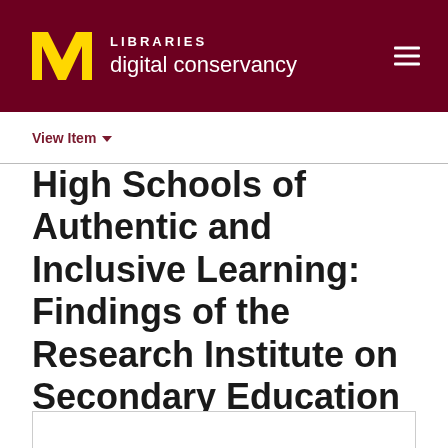LIBRARIES digital conservancy
View Item
High Schools of Authentic and Inclusive Learning: Findings of the Research Institute on Secondary Education Reform for Youth with Disabilities (RISER) (NCSET Teleconference)
King, Bruce; Hanley-Maxwell, Cheryl (University of Minnesota, Institute on Community Integration, National Center on Secondary Education and Transition (NCSET), 2003)